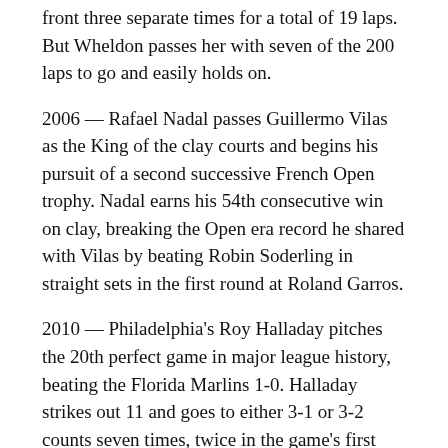front three separate times for a total of 19 laps. But Wheldon passes her with seven of the 200 laps to go and easily holds on.
2006 — Rafael Nadal passes Guillermo Vilas as the King of the clay courts and begins his pursuit of a second successive French Open trophy. Nadal earns his 54th consecutive win on clay, breaking the Open era record he shared with Vilas by beating Robin Soderling in straight sets in the first round at Roland Garros.
2010 — Philadelphia's Roy Halladay pitches the 20th perfect game in major league history, beating the Florida Marlins 1-0. Halladay strikes out 11 and goes to either 3-1 or 3-2 counts seven times, twice in the game's first three batters alone.
2011 — JR Hildebrand, one turn from winning the Indianapolis 500, skids high into the wall on the final